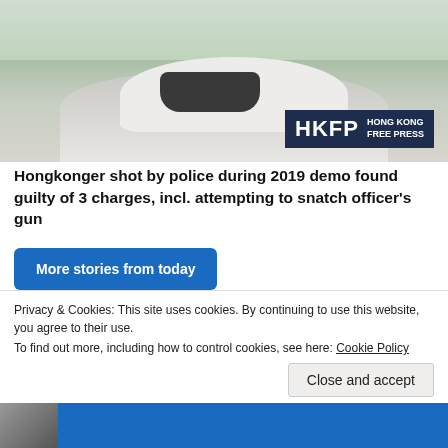[Figure (photo): Person wearing black mask and white shirt, with a child visible in background, outdoors near trees. HKFP Hong Kong Free Press logo overlay in bottom right.]
Hongkonger shot by police during 2019 demo found guilty of 3 charges, incl. attempting to snatch officer's gun
More stories from today
[Figure (photo): Annual Report banner with Hong Kong Free Press Annual Report booklet on left and blue background with 'Annual Report' in white bold italic text on right.]
Privacy & Cookies: This site uses cookies. By continuing to use this website, you agree to their use.
To find out more, including how to control cookies, see here: Cookie Policy
Close and accept